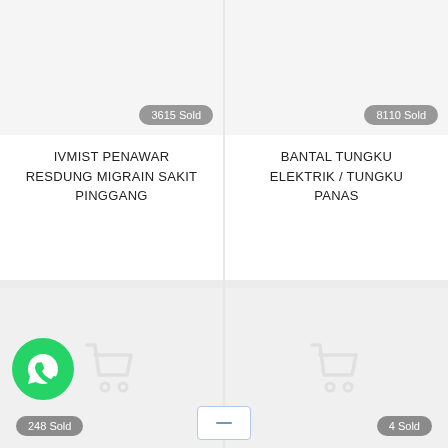[Figure (screenshot): Product image placeholder (top left) with '3615 Sold' badge, light gray background]
[Figure (screenshot): Product image placeholder (top right) with '8110 Sold' badge, light gray background]
IVMIST PENAWAR RESDUNG MIGRAIN SAKIT PINGGANG
BANTAL TUNGKU ELEKTRIK / TUNGKU PANAS
[Figure (screenshot): Product image placeholder (bottom left) with cart icon and '248 Sold' badge]
[Figure (screenshot): Product image placeholder (bottom right) with cart icon and '4 Sold' badge]
[Figure (illustration): WhatsApp floating button (green circle with phone icon)]
[Figure (other): Navigation/scroll button at bottom center]